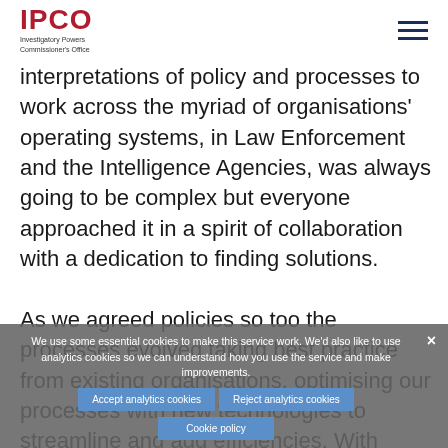IPCO — Investigatory Powers Commissioner's Office
interpretations of policy and processes to work across the myriad of organisations' operating systems, in Law Enforcement and the Intelligence Agencies, was always going to be complex but everyone approached it in a spirit of collaboration with a dedication to finding solutions.

As we agreed policies so too the processes evolved taking best practice from existing organisations, optimising our processes with new technologies to streamline and add efficiencies. With almost all UK warrants coming to IPCO for double lock review, these processes were under immense scrutiny from the policing and intelligence agencies. Work on the processes culminated in two full day test sessions, in
We use some essential cookies to make this service work. We'd also like to use analytics cookies so we can understand how you use the service and make improvements.
Accept analytics cookies  Reject analytics cookies  Cookie policy